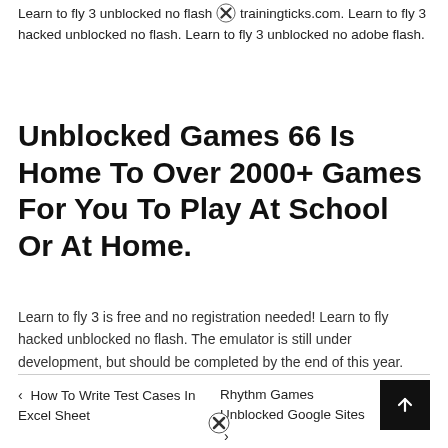Learn to fly 3 unblocked no flash trainingticks.com. Learn to fly 3 hacked unblocked no flash. Learn to fly 3 unblocked no adobe flash.
Unblocked Games 66 Is Home To Over 2000+ Games For You To Play At School Or At Home.
Learn to fly 3 is free and no registration needed! Learn to fly hacked unblocked no flash. The emulator is still under development, but should be completed by the end of this year.
‹ How To Write Test Cases In Excel Sheet
Rhythm Games Unblocked Google Sites ›